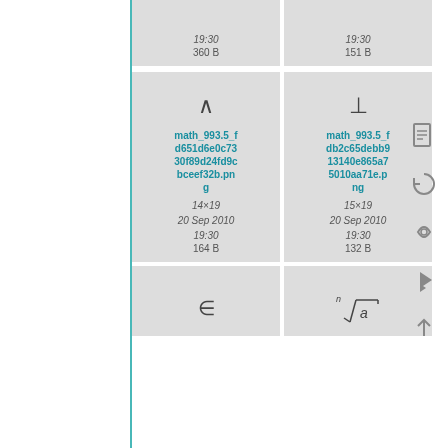[Figure (screenshot): File gallery showing math symbol image thumbnails with filenames, dimensions, dates, and file sizes. Top partial row shows two cards with '19:30', '360 B' and '19:30', '151 B'. Middle row shows wedge symbol card (math_993.5_fd651d6e0c7330f89d24fd9cbceef32b.png, 14x19, 20 Sep 2010 19:30, 164 B) and perpendicular symbol card (math_993.5_fdb2c65debb913140e865a75010aa71e.png, 15x19, 20 Sep 2010 19:30, 132 B). Bottom partial row shows epsilon and nth-root symbols.]